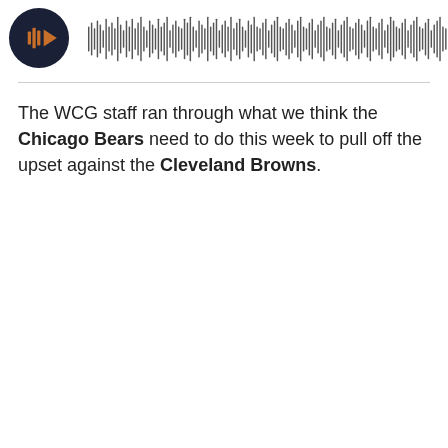[Figure (screenshot): Podcast audio player widget with circular dark play button icon showing orange bars and an orange triangle, beside a full-width audio waveform visualization with many thin vertical bars in dark gray]
The WCG staff ran through what we think the Chicago Bears need to do this week to pull off the upset against the Cleveland Browns.